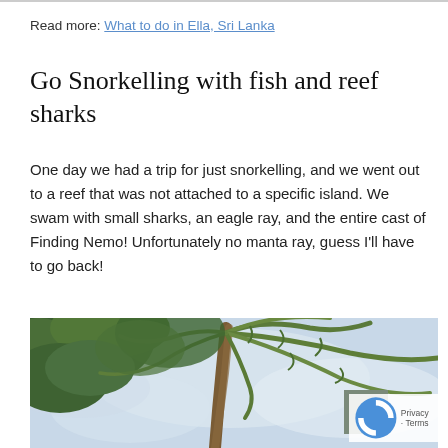Read more: What to do in Ella, Sri Lanka
Go Snorkelling with fish and reef sharks
One day we had a trip for just snorkelling, and we went out to a reef that was not attached to a specific island. We swam with small sharks, an eagle ray, and the entire cast of Finding Nemo! Unfortunately no manta ray, guess I'll have to go back!
[Figure (photo): Outdoor photograph looking up at a tall palm tree with green fronds against a cloudy sky, with dense green foliage/trees visible on the left side.]